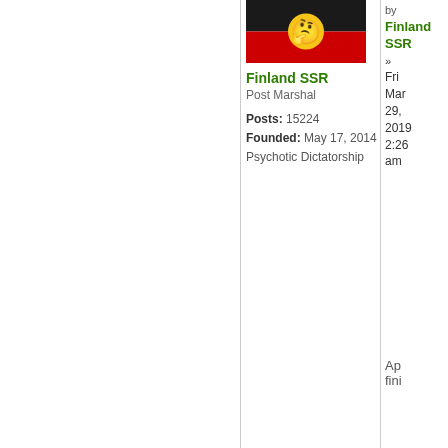[Figure (illustration): Australian Aboriginal flag with a thinking face emoji overlaid on the center. Black top half, red bottom half, yellow circle in center replaced by thinking emoji.]
Finland SSR
Post Marshal

Posts: 15224
Founded: May 17, 2014
Psychotic Dictatorship
by Finland SSR » Fri Mar 29, 2019 2:26 am
Ap fini